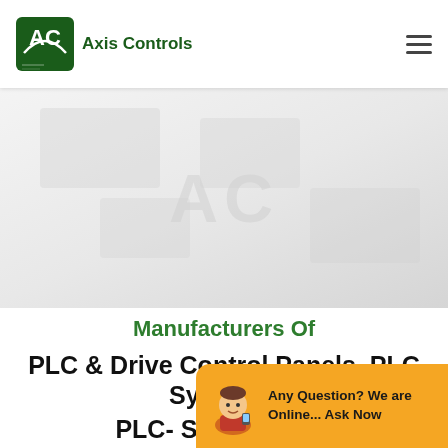Axis Controls
[Figure (photo): Hero background image with faint watermark/industrial imagery in light grey tones]
Manufacturers Of
PLC & Drive Control Panels, PLC Systems, PLC- Siemens, AB...
[Figure (infographic): Chat widget with cartoon avatar: Any Question? We are Online... Ask Now]